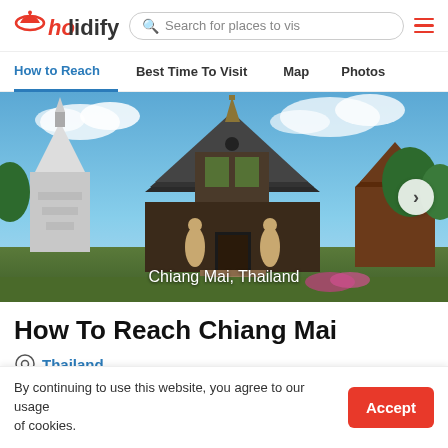holidify | Search for places to visit
How to Reach | Best Time To Visit | Map | Photos
[Figure (photo): Photo of Chiang Mai, Thailand - ornate Thai temple with silver and gold decorations, surrounded by pagodas and trees under a blue sky]
How To Reach Chiang Mai
Thailand
By continuing to use this website, you agree to our usage of cookies.